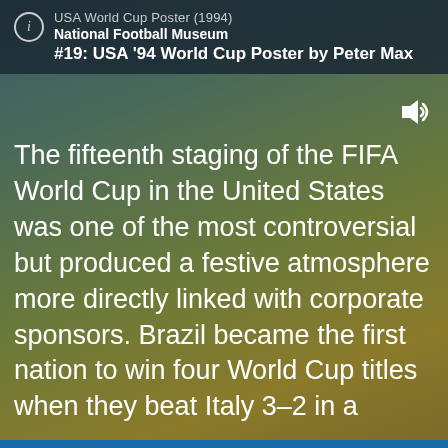USA World Cup Poster (1994)
National Football Museum
#19: USA '94 World Cup Poster by Peter Max
The fifteenth staging of the FIFA World Cup in the United States was one of the most controversial but produced a festive atmosphere more directly linked with corporate sponsors. Brazil became the first nation to win four World Cup titles when they beat Italy 3–2 in a penalty shootout after the game ended 0–0 after extra-time, the first World Cup final to be decided on penalties. The total attendance of nearly 3.6 million for the final tournament remains the highest in World Cup history. Peter Max is a German-born American illustrator and graphic artist, known for psychedelic spectra and vibrant color in his work. Max has also been the official artist for numerous major American